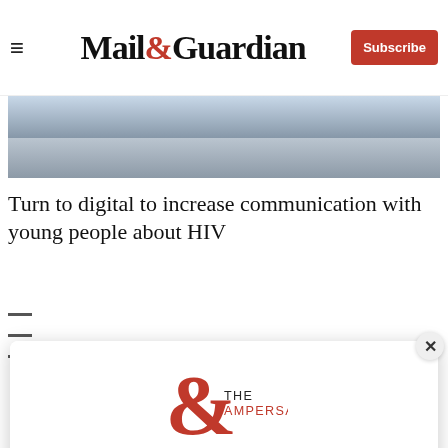Mail&Guardian | Subscribe
[Figure (photo): Cropped photo showing people from waist down, partial view of white t-shirts and dark clothing]
Turn to digital to increase communication with young people about HIV
[Figure (infographic): The Ampersand newsletter signup modal with logo, tagline 'Stay informed. Every weekday.', email input field, and Signup now button]